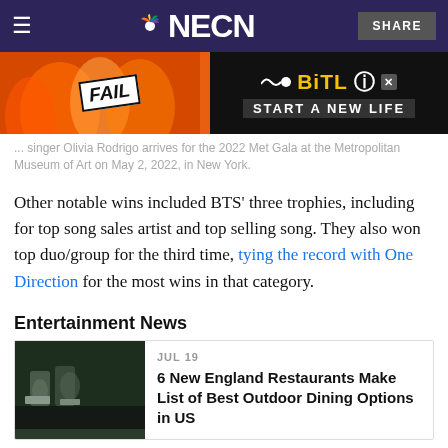NECN
[Figure (photo): BitLife advertisement banner: FAIL badge with cartoon character, orange flame background, BitLife logo and 'START A NEW LIFE' tagline on black background]
... singer Olivia Rodrigo arrives for the 2022 Met Gala at the Metropolitan Museum of Art on May 2, 2022, in New York.
Other notable wins included BTS' three trophies, including for top song sales artist and top selling song. They also won top duo/group for the third time, tying the record with One Direction for the most wins in that category.
Entertainment News
[Figure (photo): Restaurant outdoor dining thumbnail - dark image with glasses and table settings]
JUL 19
6 New England Restaurants Make List of Best Outdoor Dining Options in US